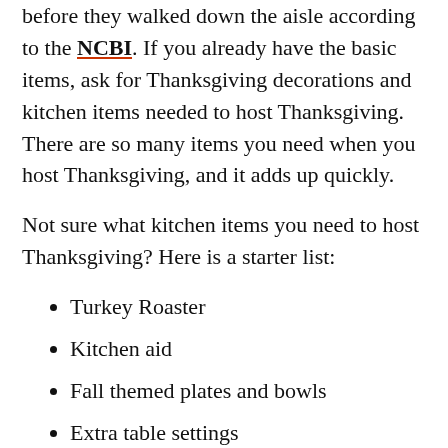before they walked down the aisle according to the NCBI. If you already have the basic items, ask for Thanksgiving decorations and kitchen items needed to host Thanksgiving. There are so many items you need when you host Thanksgiving, and it adds up quickly.
Not sure what kitchen items you need to host Thanksgiving? Here is a starter list:
Turkey Roaster
Kitchen aid
Fall themed plates and bowls
Extra table settings
Pie tins
Extra serving bowls
Extra utensils